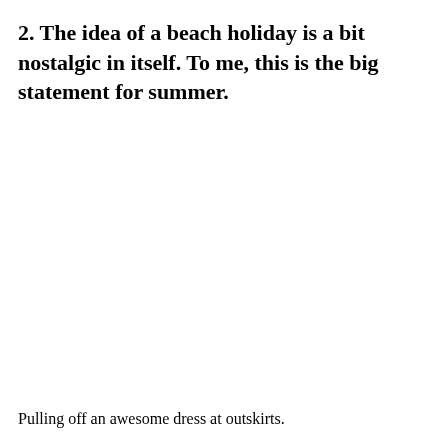2. The idea of a beach holiday is a bit nostalgic in itself. To me, this is the big statement for summer.
Pulling off an awesome dress at outskirts.